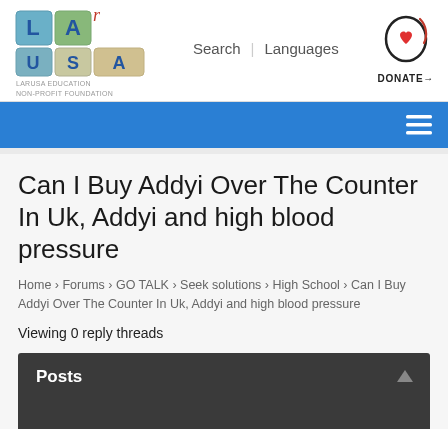[Figure (logo): LARUSA Education Non-Profit Foundation logo with colored letter blocks L, A, R, U, S, A]
Search | Languages
[Figure (logo): Donate button with heart/head icon and DONATE→ text]
Can I Buy Addyi Over The Counter In Uk, Addyi and high blood pressure
Home › Forums › GO TALK › Seek solutions › High School › Can I Buy Addyi Over The Counter In Uk, Addyi and high blood pressure
Viewing 0 reply threads
Posts